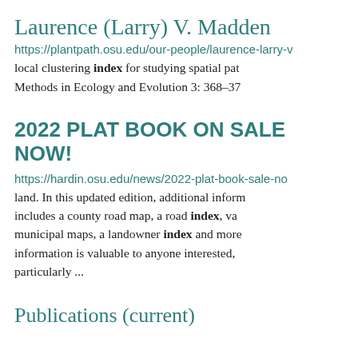Laurence (Larry) V. Madden
https://plantpath.osu.edu/our-people/laurence-larry-v local clustering index for studying spatial pat Methods in Ecology and Evolution 3: 368-37
2022 PLAT BOOK ON SALE NOW!
https://hardin.osu.edu/news/2022-plat-book-sale-no land. In this updated edition, additional inform includes a county road map, a road index, va municipal maps, a landowner index and more information is valuable to anyone interested, particularly ...
Publications (current)